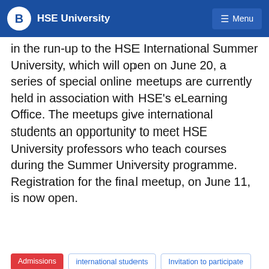HSE University  Menu
in the run-up to the HSE International Summer University, which will open on June 20, a series of special online meetups are currently held in association with HSE's eLearning Office. The meetups give international students an opportunity to meet HSE University professors who teach courses during the Summer University programme. Registration for the final meetup, on June 11, is now open.
Admissions
international students
Invitation to participate
We use cookies in order to improve the quality and usability of the HSE website. More information about the use of cookies is available here, and the regulations on processing personal data can be found here. By continuing to use the site, you hereby confirm that you have been informed of the use of cookies by the HSE website and agree with our rules for processing personal data. You may disable cookies in your browser settings.